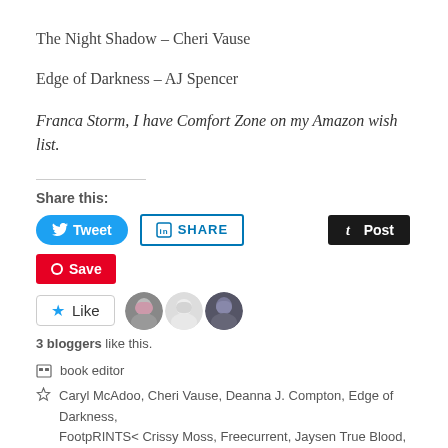The Night Shadow – Cheri Vause
Edge of Darkness – AJ Spencer
Franca Storm, I have Comfort Zone on my Amazon wish list.
Share this:
[Figure (screenshot): Social share buttons: Tweet (Twitter/blue), SHARE (LinkedIn/outlined), Post (Tumblr/dark), Save (Pinterest/red)]
[Figure (screenshot): Like widget with star icon, 3 blogger avatars, text: 3 bloggers like this.]
book editor
Caryl McAdoo, Cheri Vause, Deanna J. Compton, Edge of Darkness, FootpRINTS< Crissy Moss, Freecurrent, Jaysen True Blood, Kill Them